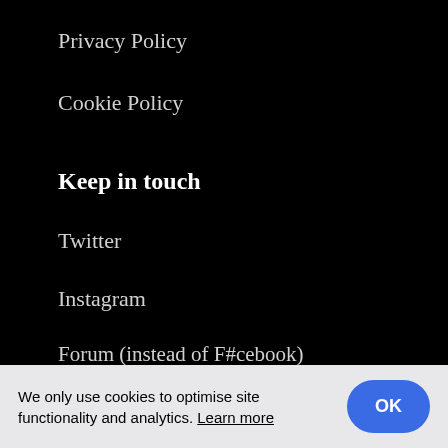Privacy Policy
Cookie Policy
Keep in touch
Twitter
Instagram
Forum (instead of F#cebook)
Top Posts
We only use cookies to optimise site functionality and analytics. Learn more